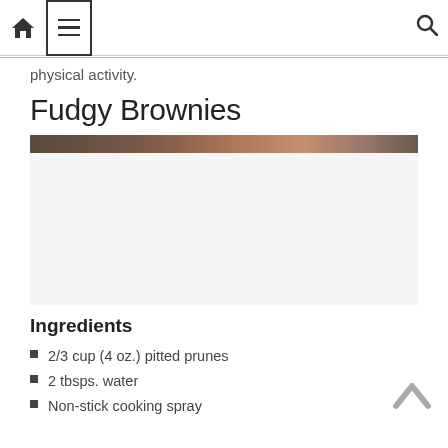Navigation bar with home icon, menu button, and search icon
physical activity.
Fudgy Brownies
[Figure (photo): A narrow horizontal strip showing the top edge of fudgy brownies, dark brown with a slightly lighter reddish-brown surface.]
Ingredients
2/3 cup (4 oz.) pitted prunes
2 tbsps. water
Non-stick cooking spray